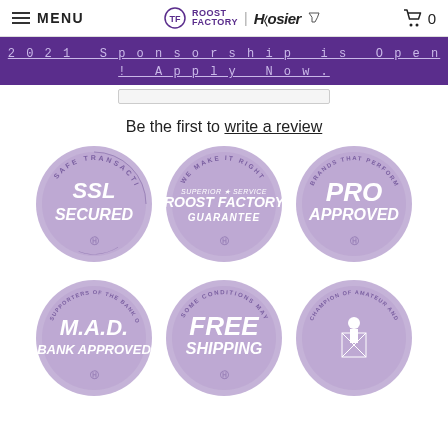MENU | ROOST FACTORY | Hoosier | 0
2021 Sponsorship is Open! Apply Now.
Be the first to write a review
[Figure (logo): SSL SECURED badge - circular purple badge with Safe Transactions text around top]
[Figure (logo): ROOST FACTORY GUARANTEE badge - circular purple badge with We Make It Right and Superior Service text]
[Figure (logo): PRO APPROVED badge - circular purple badge with Brands That Perform text]
[Figure (logo): M.A.D. BANK APPROVED badge - circular purple badge with Supporters of the Bank of Mud and Dust text]
[Figure (logo): FREE SHIPPING badge - circular purple badge with Some Conditions May Apply text]
[Figure (logo): Champion of Amateur and Private Racer badge - circular purple badge with figure holding flags]